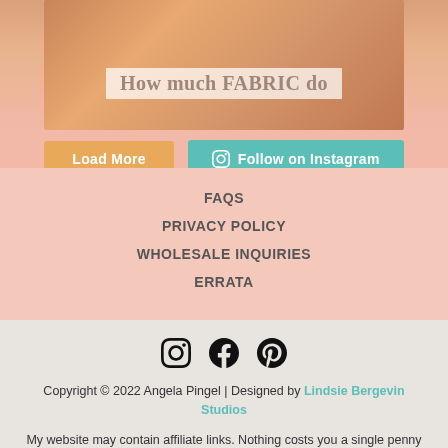[Figure (photo): Partial photo of a person wearing an orange/mustard knitted sweater with overlay text 'How much FABRIC do' visible on a semi-transparent white banner]
Load More
Follow on Instagram
FAQS
PRIVACY POLICY
WHOLESALE INQUIRIES
ERRATA
[Figure (logo): Social media icons: Instagram, Facebook, Pinterest]
Copyright © 2022 Angela Pingel | Designed by Lindsie Bergevin Studios
My website may contain affiliate links. Nothing costs you a single penny (in fact, you might save some), but I will get a small commission. And that just helps me buy more fabric!